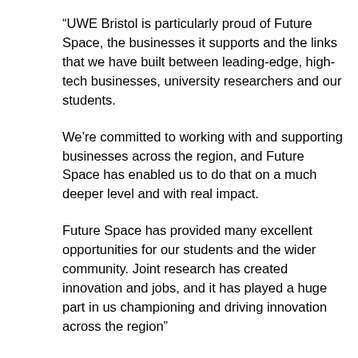“UWE Bristol is particularly proud of Future Space, the businesses it supports and the links that we have built between leading-edge, high-tech businesses, university researchers and our students.
We’re committed to working with and supporting businesses across the region, and Future Space has enabled us to do that on a much deeper level and with real impact.
Future Space has provided many excellent opportunities for our students and the wider community. Joint research has created innovation and jobs, and it has played a huge part in us championing and driving innovation across the region”
CASE STUDY: Indus Fusion – from start-up